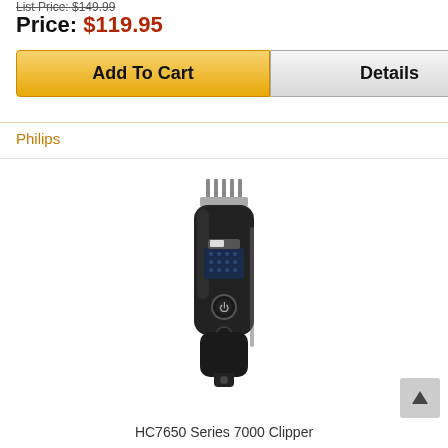List Price: $149.99
Price: $119.95
Add To Cart
Details
Philips
[Figure (photo): Philips HC7650 Series 7000 hair clipper, black, standing upright with comb attachment on top]
HC7650 Series 7000 Clipper